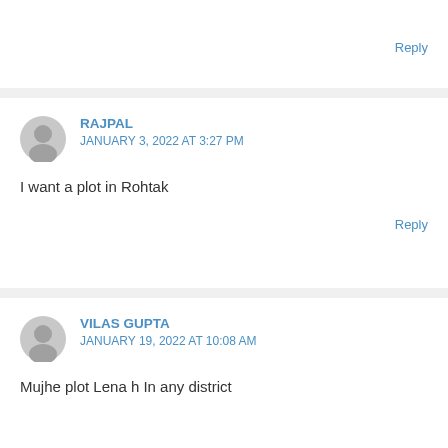Reply
RAJPAL
JANUARY 3, 2022 AT 3:27 PM
I want a plot in Rohtak
Reply
VILAS GUPTA
JANUARY 19, 2022 AT 10:08 AM
Mujhe plot Lena h In any district